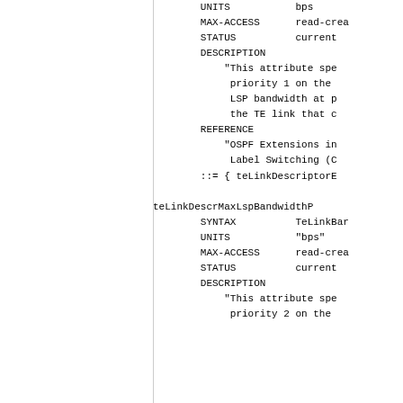UNITS           bps
        MAX-ACCESS      read-crea
        STATUS          current
        DESCRIPTION
            "This attribute spe
             priority 1 on the
             LSP bandwidth at p
             the TE link that c
        REFERENCE
            "OSPF Extensions in
             Label Switching (C
        ::= { teLinkDescriptorE

teLinkDescrMaxLspBandwidthP
        SYNTAX          TeLinkBar
        UNITS           "bps"
        MAX-ACCESS      read-crea
        STATUS          current
        DESCRIPTION
            "This attribute spe
             priority 2 on the